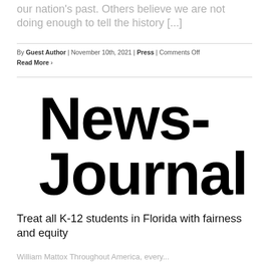our nation's past. Others believe we are not doing enough to tell the history [...]
By Guest Author | November 10th, 2021 | Press | Comments Off
Read More ›
[Figure (logo): News-journal logo in large bold black sans-serif text, split across two lines: 'News-' on top and 'Journal' below]
Treat all K-12 students in Florida with fairness and equity
William Mattox Throughout America, every...